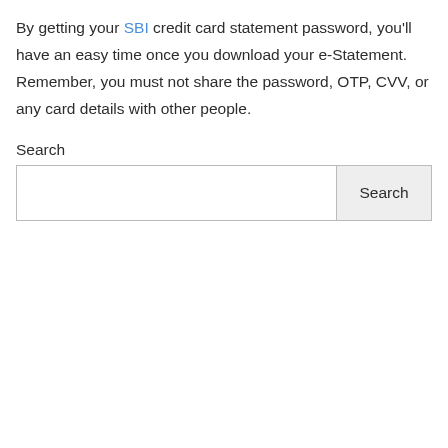By getting your SBI credit card statement password, you'll have an easy time once you download your e-Statement. Remember, you must not share the password, OTP, CVV, or any card details with other people.
Search